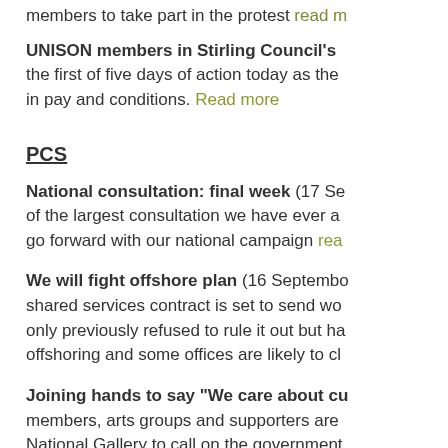members to take part in the protest read more
UNISON members in Stirling Council's the first of five days of action today as the in pay and conditions. Read more
PCS
National consultation: final week (17 Se of the largest consultation we have ever a go forward with our national campaign rea
We will fight offshore plan (16 Septembo shared services contract is set to send wo only previously refused to rule it out but ha offshoring and some offices are likely to cl
Joining hands to say "We care about cu members, arts groups and supporters are National Gallery to call on the government